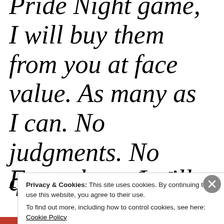Pride Night game, I will buy them from you at face value. As many as I can. No judgments. No questions asked.
From there, I will
Privacy & Cookies: This site uses cookies. By continuing to use this website, you agree to their use. To find out more, including how to control cookies, see here: Cookie Policy
Close and accept